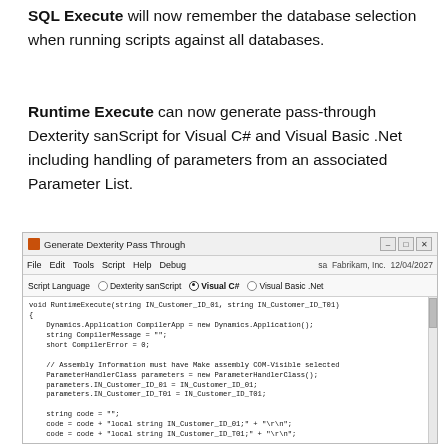SQL Execute will now remember the database selection when running scripts against all databases.
Runtime Execute can now generate pass-through Dexterity sanScript for Visual C# and Visual Basic .Net including handling of parameters from an associated Parameter List.
[Figure (screenshot): Screenshot of 'Generate Dexterity Pass Through' window showing Visual C# selected as Script Language, with code visible in the editor area including RuntimeExecute function with Dynamics.Application and ParameterHandlerClass usage.]